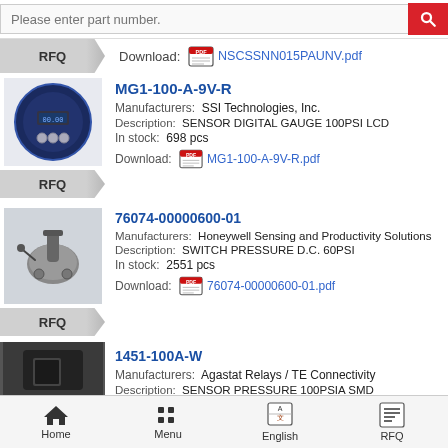Please enter part number. [search bar with red button]
RFQ   Download: NSCSSNN015PAUNV.pdf
MG1-100-A-9V-R
Manufacturers: SSI Technologies, Inc.
Description: SENSOR DIGITAL GAUGE 100PSI LCD
In stock: 698 pcs
Download: MG1-100-A-9V-R.pdf
76074-00000600-01
Manufacturers: Honeywell Sensing and Productivity Solutions
Description: SWITCH PRESSURE D.C. 60PSI
In stock: 2551 pcs
Download: 76074-00000600-01.pdf
1451-100A-W
Manufacturers: Agastat Relays / TE Connectivity
Description: SENSOR PRESSURE 100PSIA SMD
Home   Menu   English   RFQ